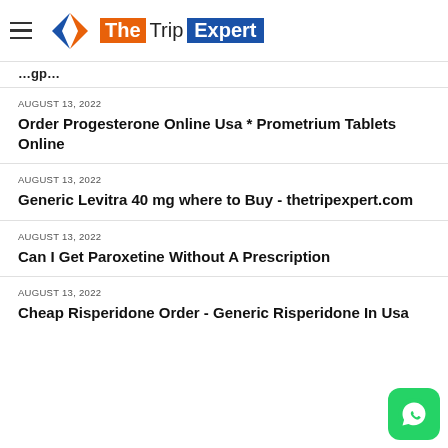The Trip Expert
…gp…
AUGUST 13, 2022
Order Progesterone Online Usa * Prometrium Tablets Online
AUGUST 13, 2022
Generic Levitra 40 mg where to Buy - thetripexpert.com
AUGUST 13, 2022
Can I Get Paroxetine Without A Prescription
AUGUST 13, 2022
Cheap Risperidone Order - Generic Risperidone In Usa
[Figure (logo): WhatsApp button icon, green rounded square with white phone handset]